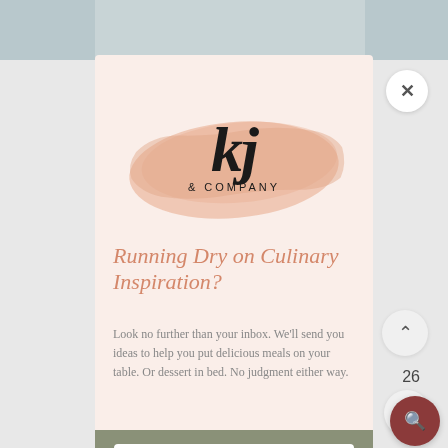[Figure (screenshot): Mobile popup modal from KJ & Company website showing email signup. Contains logo with brushstroke background, headline 'Running Dry on Culinary Inspiration?', descriptive body text, and a First Name input field at bottom on sage green background. Interface elements visible: close X button, up arrow button, number 26, heart button, dark red search button.]
kj & COMPANY
Running Dry on Culinary Inspiration?
Look no further than your inbox. We'll send you ideas to help you put delicious meals on your table. Or dessert in bed. No judgment either way.
First Name